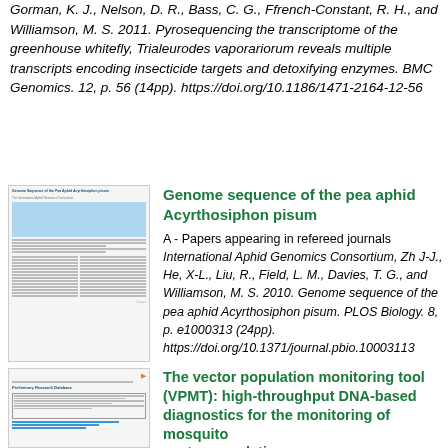Gorman, K. J., Nelson, D. R., Bass, C. G., Ffrench-Constant, R. H., and Williamson, M. S. 2011. Pyrosequencing the transcriptome of the greenhouse whitefly, Trialeurodes vaporariorum reveals multiple transcripts encoding insecticide targets and detoxifying enzymes. BMC Genomics. 12, p. 56 (14pp). https://doi.org/10.1186/1471-2164-12-56
[Figure (screenshot): Thumbnail of the paper 'Genome sequence of the pea aphid Acyrthosiphon pisum']
Genome sequence of the pea aphid Acyrthosiphon pisum
A - Papers appearing in refereed journals International Aphid Genomics Consortium, Zh J-J., He, X-L., Liu, R., Field, L. M., Davies, T. G., and Williamson, M. S. 2010. Genome sequence of the pea aphid Acyrthosiphon pisum. PLOS Biology. 8, p. e1000313 (24pp). https://doi.org/10.1371/journal.pbio.10003113
[Figure (screenshot): Thumbnail of the paper 'The vector population monitoring tool (VPMT): high-throughput DNA-based diagnostics for the monitoring of mosquito vector populations']
The vector population monitoring tool (VPMT): high-throughput DNA-based diagnostics for the monitoring of mosquito vector populations